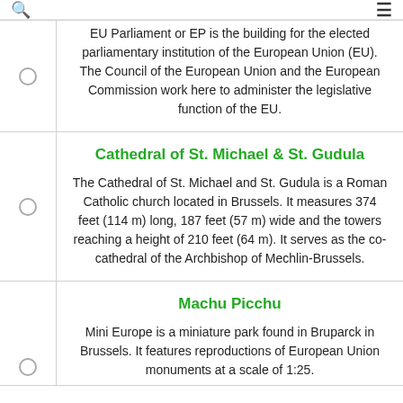EU Parliament or EP is the building for the elected parliamentary institution of the European Union (EU). The Council of the European Union and the European Commission work here to administer the legislative function of the EU.
Cathedral of St. Michael & St. Gudula
The Cathedral of St. Michael and St. Gudula is a Roman Catholic church located in Brussels. It measures 374 feet (114 m) long, 187 feet (57 m) wide and the towers reaching a height of 210 feet (64 m). It serves as the co-cathedral of the Archbishop of Mechlin-Brussels.
Machu Picchu
Mini Europe is a miniature park found in Bruparck in Brussels. It features reproductions of European Union monuments at a scale of 1:25.